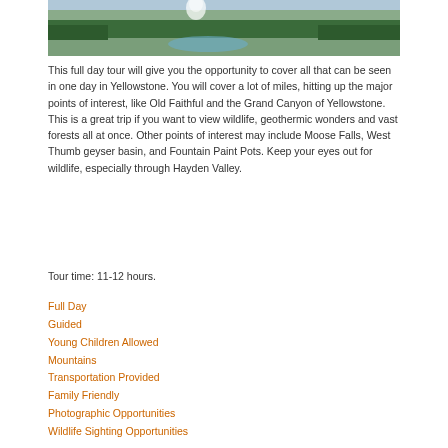[Figure (photo): Aerial or elevated view of Yellowstone landscape with geothermal features, trees, and a geyser or hot spring in the background]
This full day tour will give you the opportunity to cover all that can be seen in one day in Yellowstone. You will cover a lot of miles, hitting up the major points of interest, like Old Faithful and the Grand Canyon of Yellowstone. This is a great trip if you want to view wildlife, geothermic wonders and vast forests all at once. Other points of interest may include Moose Falls, West Thumb geyser basin, and Fountain Paint Pots. Keep your eyes out for wildlife, especially through Hayden Valley.
Tour time: 11-12 hours.
Full Day
Guided
Young Children Allowed
Mountains
Transportation Provided
Family Friendly
Photographic Opportunities
Wildlife Sighting Opportunities